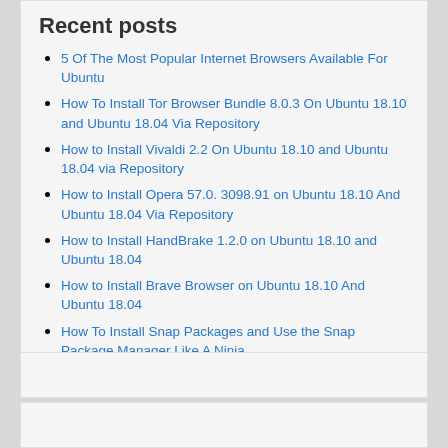Recent posts
5 Of The Most Popular Internet Browsers Available For Ubuntu
How To Install Tor Browser Bundle 8.0.3 On Ubuntu 18.10 and Ubuntu 18.04 Via Repository
How to Install Vivaldi 2.2 On Ubuntu 18.10 and Ubuntu 18.04 via Repository
How to Install Opera 57.0. 3098.91 on Ubuntu 18.10 And Ubuntu 18.04 Via Repository
How to Install HandBrake 1.2.0 on Ubuntu 18.10 and Ubuntu 18.04
How to Install Brave Browser on Ubuntu 18.10 And Ubuntu 18.04
How To Install Snap Packages and Use the Snap Package Manager Like A Ninja